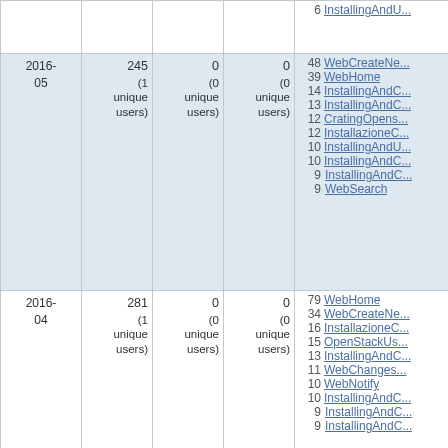| Date | Views | Col3 | Col4 | Top pages |
| --- | --- | --- | --- | --- |
|  |  |  |  | 6 InstallingAndU... |
| 2016-05 | 245
(1 unique users) | 0
(0 unique users) | 0
(0 unique users) | 48 WebCreateNe...
39 WebHome
14 InstallingAndC...
13 InstallingAndC...
12 CratingOpens...
12 InstallazioneC...
10 InstallingAndU...
10 InstallingAndC...
9 InstallingAndC...
9 WebSearch |
| 2016-04 | 281
(1 unique users) | 0
(0 unique users) | 0
(0 unique users) | 79 WebHome
34 WebCreateNe...
16 InstallazioneC...
15 OpenStackUs...
13 InstallingAndC...
11 WebChanges...
10 WebNotify
10 InstallingAndC...
9 InstallingAndC...
9 InstallingAndC... |
| 2016- | 412 | 0 | 0 | 136 WebHome |